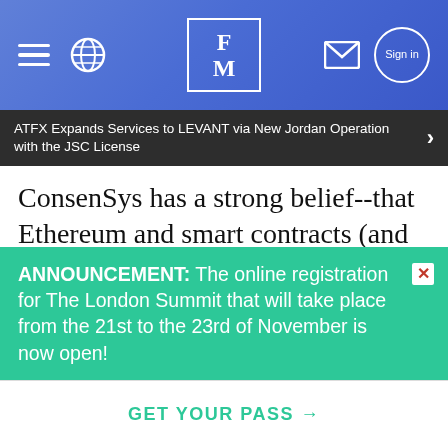FM (Finance Magnates header with hamburger, globe, logo, mail, sign-in icons)
ATFX Expands Services to LEVANT via New Jordan Operation with the JSC License
ConsenSys has a strong belief--that Ethereum and smart contracts (and blockchain-based systems more broadly) are a step function in innovation for how we build technology systems."
This is an important concept when it comes
ANNOUNCEMENT: The online registration for The London Summit that will take place from the 21st to the 23rd of November is now open!
GET YOUR PASS →